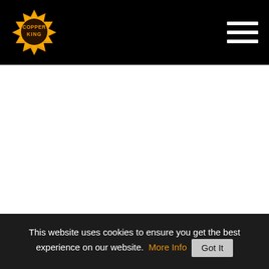Copper King logo and navigation bar
[Figure (logo): Copper King badge logo — gold/orange starburst badge with text COPPER KING in brown/black]
QUICK LINKS
This website uses cookies to ensure you get the best experience on our website. More Info Got It